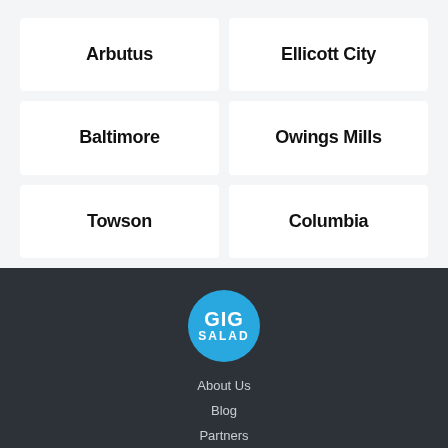Arbutus
Ellicott City
Baltimore
Owings Mills
Towson
Columbia
[Figure (logo): GIG SALAD logo — white text on blue circle]
About Us
Blog
Partners